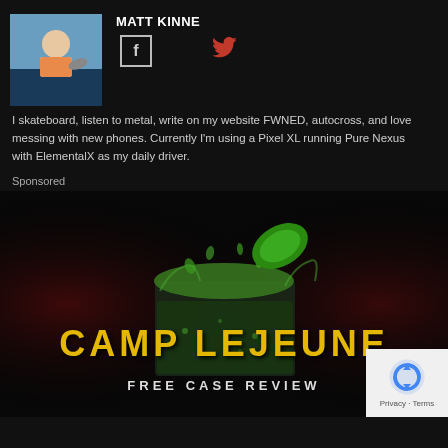[Figure (photo): Profile photo of Matt Kinne, a person outdoors on water holding a fish]
MATT KINNE
[Figure (other): Facebook icon (f) in a bordered square and Twitter bird icon in red]
I skateboard, listen to metal, write on my website FWNED, autocross, and love messing with new phones. Currently I'm using a Pixel XL running Pure Nexus with ElementalX as my daily driver.
Sponsored
[Figure (photo): Advertisement image for Camp Lejeune Free Case Review showing a green drink being poured into a glass with splashing water on a dark red background, with large yellow distressed text reading CAMP LEJEUNE and smaller text FREE CASE REVIEW, plus a Google reCAPTCHA privacy badge in the corner]